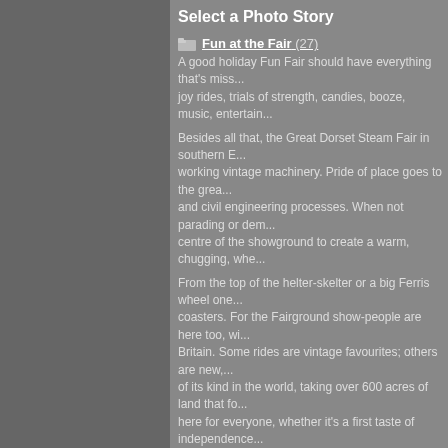Select a Photo Story
Fun at the Fair (27)
A good holiday Fun Fair should have everything that's miss... joy rides, trials of strength, candies, booze, music, entertain...
Besides all that, the Great Dorset Steam Fair in southern E... working vintage machinery. Pride of place goes to the grea... and civil engineering processes. When not parading or dem... centre of the showground to create a warm, chugging, whe...
From the top of the helter-skelter or a big Ferris wheel one... coasters. For the Fairground show-people are here too, wit... Britain. Some rides are vintage favourites; others are new,... of its kind in the world, taking over 600 acres of land that fo... here for everyone, whether it's a first taste of independence... show off, a photo-opportunity, searching for bargains on a j... machinery or draught horses.
The relentless din of fairground organs, announcements, s... thumping makes your head spin. So in time folk retire to qu... sit-down rest, though the enthusiasts find it hard to leave t... to life. At Ron Taylor's theatrical boxing and wrestling boot... of the crowd to step up and test their fighting skills in the ri... old familiar venue was closed and up for sale, a reminder t... Because of COVID, the Great Dorset Steam Fair has now n... sleeping.
Photo documentary series by Jonathan Reynolds
https://www.allmyeye.co.uk
Global #ClimateStrike : Melbourne, Australia
Sept 20th , 2019 Global Climate Strike. #climatestrike
The point of protest is to draw attention " to wave your arm... Australia isn't known for these types of spectacles " a mixtu... don't want to bignote myself) and fragile privilege keeps pe... School Strike for Climate with my son, a man lent in and su... amazing turnout " unprecedented " with tallies coming in at... put paid to that man's comment "No jobs if there"s no plan...